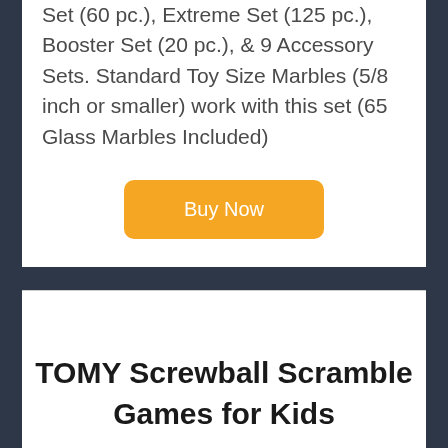Set (60 pc.), Extreme Set (125 pc.), Booster Set (20 pc.), & 9 Accessory Sets. Standard Toy Size Marbles (5/8 inch or smaller) work with this set (65 Glass Marbles Included)
[Figure (other): Orange 'Buy Now' button]
TOMY Screwball Scramble Games for Kids